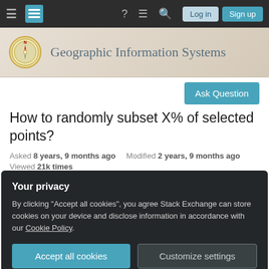Geographic Information Systems — Stack Exchange navigation bar with Log in and Sign up buttons
Geographic Information Systems
Ask Question
How to randomly subset X% of selected points?
Asked 8 years, 9 months ago   Modified 2 years, 9 months ago
Viewed 21k times
Your privacy

By clicking "Accept all cookies", you agree Stack Exchange can store cookies on your device and disclose information in accordance with our Cookie Policy.

Accept all cookies   Customize settings
rest.